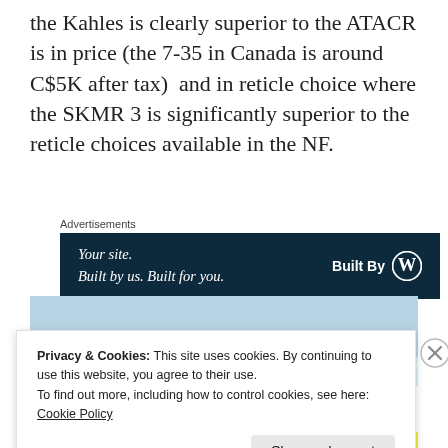the Kahles is clearly superior to the ATACR is in price (the 7-35 in Canada is around C$5K after tax)  and in reticle choice where the SKMR 3 is significantly superior to the reticle choices available in the NF.
Advertisements
[Figure (screenshot): Advertisement banner with dark navy background showing 'Your site. Built by us. Built for you.' on the left and 'Built By' with WordPress logo on the right.]
[Figure (photo): A winter outdoor scene showing snowy landscape, possibly a snowy field or ground with some vegetation visible.]
Privacy & Cookies: This site uses cookies. By continuing to use this website, you agree to their use.
To find out more, including how to control cookies, see here: Cookie Policy
Close and accept